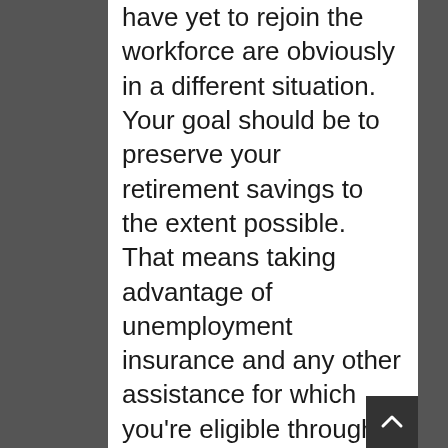have yet to rejoin the workforce are obviously in a different situation. Your goal should be to preserve your retirement savings to the extent possible. That means taking advantage of unemployment insurance and any other assistance for which you're eligible through existing programs. You may also be able to negotiate with your creditors, such as mortgage lenders and credit card companies, to reduce, postpone, or spread out any payments you owe them. If you have an emergency fund, as financial planners often recommend, it should be your first resort. Of course, after 18 months of pandemic unemployment, it would be a hardy